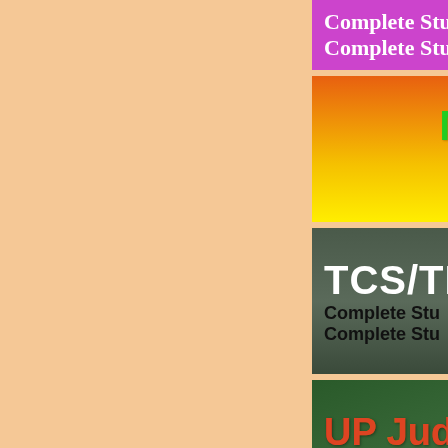[Figure (illustration): Peach/salmon colored left panel background]
[Figure (illustration): Magenta/pink banner with text 'Complete Study' repeated on two lines in white serif font]
[Figure (illustration): MPPSC banner with orange-to-yellow gradient, large green bold 'MPPSC' title, red 'Complete St' subtitle, black 'Complete St' subtitle]
[Figure (illustration): TCS/TF banner with dark olive/grey-green background, large white bold 'TCS/TF' title, black 'Complete Stu' repeated subtitles]
[Figure (illustration): UP Judiciary banner with dark green background, colorful 'UP Jud.' title, italic white subtitles: UPPCS (J) Prelims, UPPCS (J) Main, Co...]
[Figure (illustration): IIT JEE banner with orange/gold gradient background, large black bold 'IIT JEE' title (partially visible)]